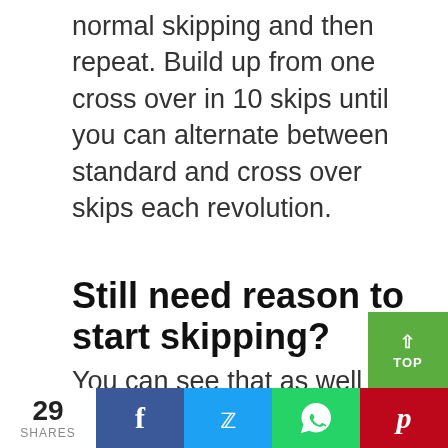normal skipping and then repeat. Build up from one cross over in 10 skips until you can alternate between standard and cross over skips each revolution.
Still need reason to start skipping?
You can see that as well as adding some variety to your exercise programme, skipping brings a wide range of fitness benefits. Additionally, studies have sho...
29 SHARES